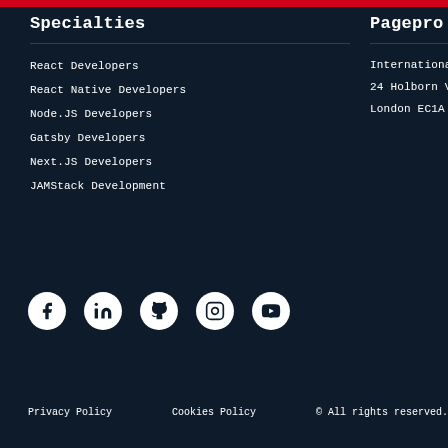Specialties
React Developers
React Native Developers
Node.JS Developers
Gatsby Developers
Next.JS Developers
JAMStack Development
Pagepro LTD
International House
24 Holborn Viadut
London EC1A 2BN
[Figure (other): Social media icons row: Facebook, LinkedIn, GitHub, Instagram, YouTube]
Privacy Policy    Cookies Policy    © All rights reserved. Pagepro Ltd.